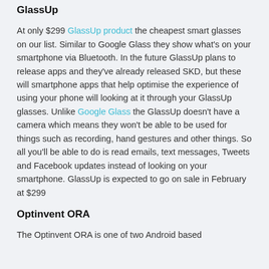GlassUp
At only $299 GlassUp product the cheapest smart glasses on our list. Similar to Google Glass they show what's on your smartphone via Bluetooth. In the future GlassUp plans to release apps and they've already released SKD, but these will smartphone apps that help optimise the experience of using your phone will looking at it through your GlassUp glasses. Unlike Google Glass the GlassUp doesn't have a camera which means they won't be able to be used for things such as recording, hand gestures and other things. So all you'll be able to do is read emails, text messages, Tweets and Facebook updates instead of looking on your smartphone. GlassUp is expected to go on sale in February at $299
Optinvent ORA
The Optinvent ORA is one of two Android based